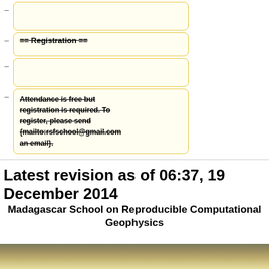== Registration ==
Attendance is free but registration is required. To register, please send {mailto:rsfschool@gmail.com an email}.
Latest revision as of 06:37, 19 December 2014
Madagascar School on Reproducible Computational Geophysics
[Figure (photo): Landscape photo strip at bottom of page]